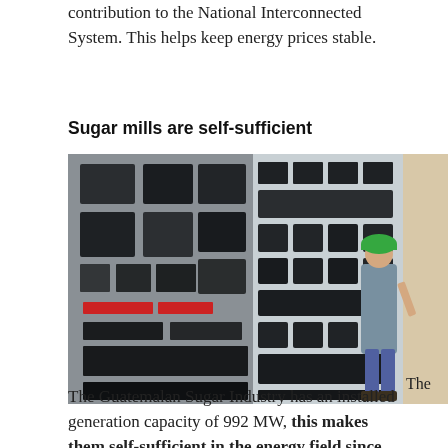contribution to the National Interconnected System. This helps keep energy prices stable.
Sugar mills are self-sufficient
[Figure (photo): A technician wearing a green hard hat works at a large electrical control panel in a sugar mill power generation facility.]
The Guatemalan Sugar Industry has an installed generation capacity of 992 MW, this makes them self-sufficient in the energy field since they generate their own energy, and the surplus is sold to the National Interconnected System.